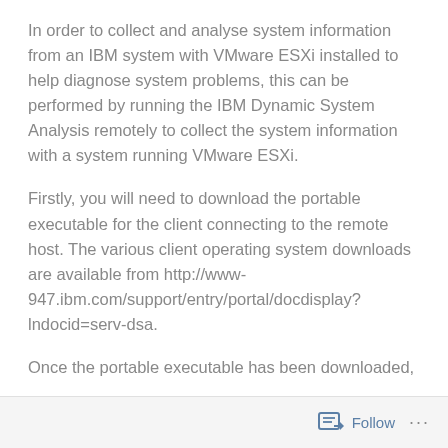In order to collect and analyse system information from an IBM system with VMware ESXi installed to help diagnose system problems, this can be performed by running the IBM Dynamic System Analysis remotely to collect the system information with a system running VMware ESXi.
Firstly, you will need to download the portable executable for the client connecting to the remote host. The various client operating system downloads are available from http://www-947.ibm.com/support/entry/portal/docdisplay?lndocid=serv-dsa.
Once the portable executable has been downloaded,
Follow ···